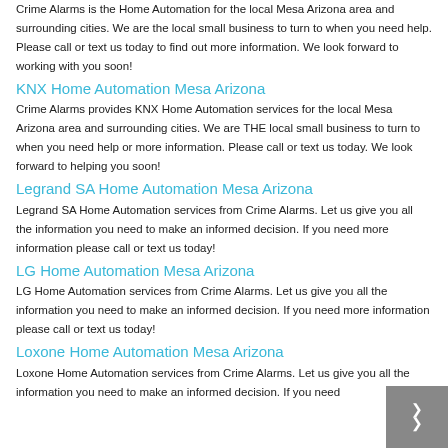Crime Alarms is the Home Automation for the local Mesa Arizona area and surrounding cities. We are the local small business to turn to when you need help. Please call or text us today to find out more information. We look forward to working with you soon!
KNX Home Automation Mesa Arizona
Crime Alarms provides KNX Home Automation services for the local Mesa Arizona area and surrounding cities. We are THE local small business to turn to when you need help or more information. Please call or text us today. We look forward to helping you soon!
Legrand SA Home Automation Mesa Arizona
Legrand SA Home Automation services from Crime Alarms. Let us give you all the information you need to make an informed decision. If you need more information please call or text us today!
LG Home Automation Mesa Arizona
LG Home Automation services from Crime Alarms. Let us give you all the information you need to make an informed decision. If you need more information please call or text us today!
Loxone Home Automation Mesa Arizona
Loxone Home Automation services from Crime Alarms. Let us give you all the information you need to make an informed decision. If you need